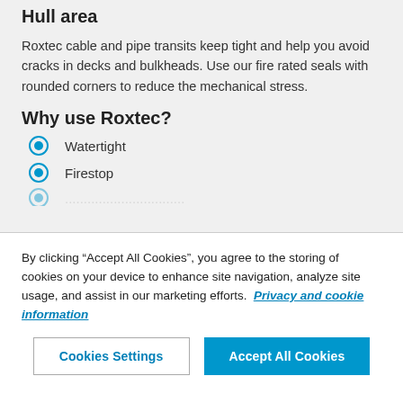Hull area
Roxtec cable and pipe transits keep tight and help you avoid cracks in decks and bulkheads. Use our fire rated seals with rounded corners to reduce the mechanical stress.
Why use Roxtec?
Watertight
Firestop
By clicking “Accept All Cookies”, you agree to the storing of cookies on your device to enhance site navigation, analyze site usage, and assist in our marketing efforts. Privacy and cookie information
Cookies Settings | Accept All Cookies